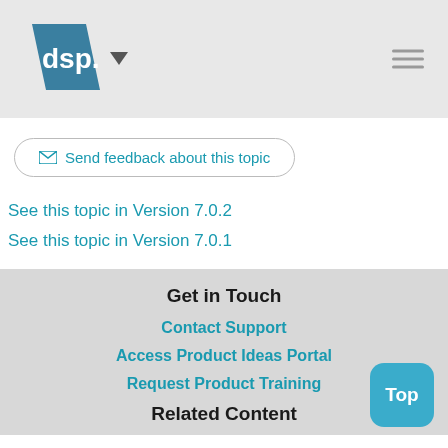[Figure (logo): DSP logo - blue diamond shape with 'dsp.' text in white, followed by a dropdown arrow]
✉ Send feedback about this topic
See this topic in Version 7.0.2
See this topic in Version 7.0.1
Get in Touch
Contact Support
Access Product Ideas Portal
Request Product Training
Related Content